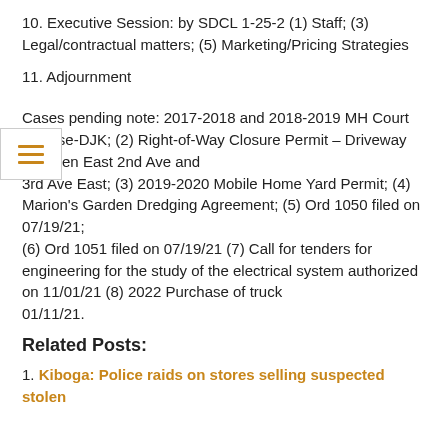10. Executive Session: by SDCL 1-25-2 (1) Staff; (3) Legal/contractual matters; (5) Marketing/Pricing Strategies
11. Adjournment
Cases pending note: 2017-2018 and 2018-2019 MH Court License-DJK; (2) Right-of-Way Closure Permit – Driveway between East 2nd Ave and 3rd Ave East; (3) 2019-2020 Mobile Home Yard Permit; (4) Marion’s Garden Dredging Agreement; (5) Ord 1050 filed on 07/19/21; (6) Ord 1051 filed on 07/19/21 (7) Call for tenders for engineering for the study of the electrical system authorized on 11/01/21 (8) 2022 Purchase of truck 01/11/21.
Related Posts:
1. Kiboga: Police raids on stores selling suspected stolen